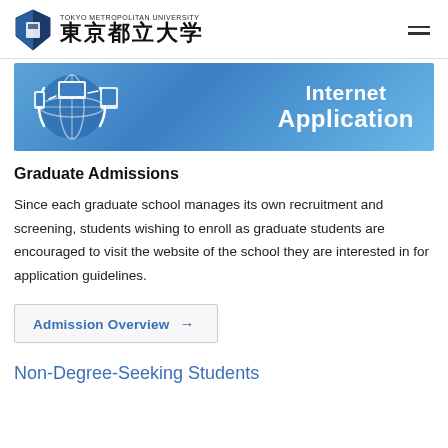TOKYO METROPOLITAN UNIVERSITY 東京都立大学
[Figure (illustration): Blue banner graphic with globe and devices icons on left side, white bold text reading 'Internet Application' on blue gradient background]
Graduate Admissions
Since each graduate school manages its own recruitment and screening, students wishing to enroll as graduate students are encouraged to visit the website of the school they are interested in for application guidelines.
Admission Overview →
Non-Degree-Seeking Students